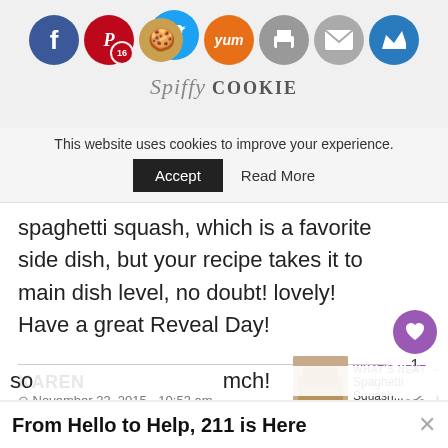[Figure (screenshot): Website header with social sharing icons: Facebook (blue), Pinterest (red, badge 16), Twitter (cyan), Yummly (orange), Print (gray), Email (gray), Crown (blue). Cookie emoji logo visible.]
This website uses cookies to improve your experience.
Accept   Read More
spaghetti squash, which is a favorite side dish, but your recipe takes it to main dish level, no doubt! lovely!
Have a great Reveal Day!
1
KAREN
November 23, 2015 - 10:53 am
SO pretty and So colourful – these look and
WHAT'S NEXT → Spaghetti Squash...
From Hello to Help, 211 is Here